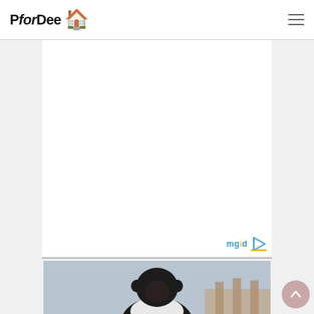PforDee
[Figure (other): White advertisement/content area with mgid logo watermark in bottom-right corner]
[Figure (photo): Close-up photo of a chimpanzee wearing a white shirt, with a blurred architectural background]